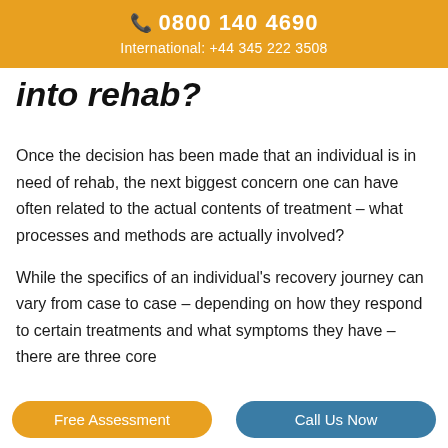0800 140 4690
International: +44 345 222 3508
into rehab?
Once the decision has been made that an individual is in need of rehab, the next biggest concern one can have often related to the actual contents of treatment – what processes and methods are actually involved?
While the specifics of an individual's recovery journey can vary from case to case – depending on how they respond to certain treatments and what symptoms they have – there are three core
Free Assessment   Call Us Now